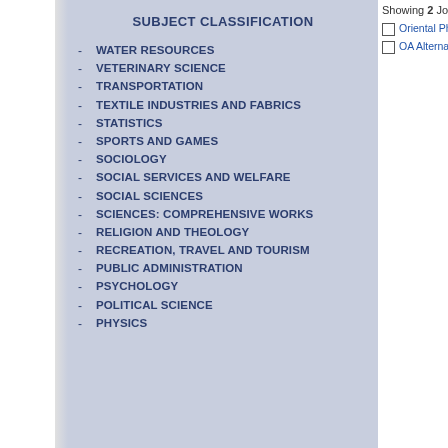SUBJECT CLASSIFICATION
WATER RESOURCES
VETERINARY SCIENCE
TRANSPORTATION
TEXTILE INDUSTRIES AND FABRICS
STATISTICS
SPORTS AND GAMES
SOCIOLOGY
SOCIAL SERVICES AND WELFARE
SOCIAL SCIENCES
SCIENCES: COMPREHENSIVE WORKS
RELIGION AND THEOLOGY
RECREATION, TRAVEL AND TOURISM
PUBLIC ADMINISTRATION
PSYCHOLOGY
POLITICAL SCIENCE
PHYSICS
Showing 2 Journals start
Oriental Pharmacy
OA Alternative Med